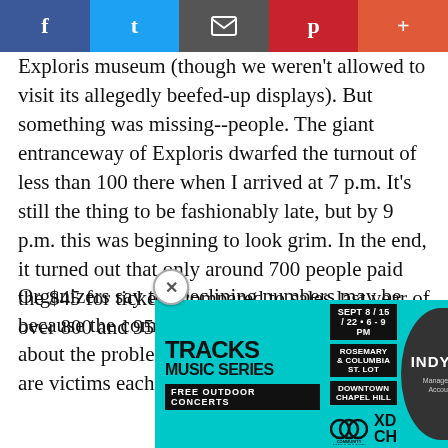[Figure (other): Social media share bar with Facebook, Twitter, email, Pinterest, and plus buttons]
Exploris museum (though we weren't allowed to visit its allegedly beefed-up displays). But something was missing--people. The giant entranceway of Exploris dwarfed the turnout of less than 100 there when I arrived at 7 p.m. It's still the thing to be fashionably late, but by 9 p.m. this was beginning to look grim. In the end, it turned out that only around 700 people paid the $45 for tickets, compared to sales last year of over 800 and 950 the year before.
Organizers say the declining numbers may be because the community has become complacent about the problems posed by HIV/AIDS. "We are victims... each, one of ... think t... d to give...
[Figure (other): Advertisement overlay for Tracks Music Series: FREE OUTDOOR CONCERTS. SEPT 8 / 15 / 22 • 6 - 9 PM, ROSEMARY & COLUMBIA ST. LOT, DOWNTOWN CHAPEL HILL. Community Arts & Culture logo, XD CH logo, INDY week logo with Manage My Account button.]